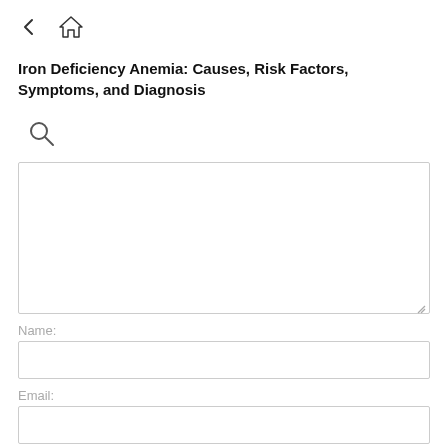[Figure (other): Navigation bar with back arrow and home icon]
Iron Deficiency Anemia: Causes, Risk Factors, Symptoms, and Diagnosis
[Figure (other): Search icon (magnifying glass)]
[Figure (other): Large text area input box with resize handle]
Name:
[Figure (other): Name text input field]
Email:
[Figure (other): Email text input field]